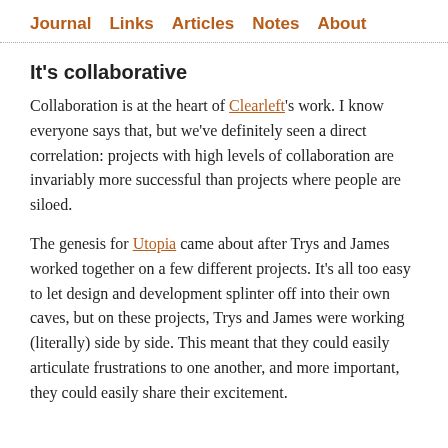Journal  Links  Articles  Notes  About
It's collaborative
Collaboration is at the heart of Clearleft's work. I know everyone says that, but we've definitely seen a direct correlation: projects with high levels of collaboration are invariably more successful than projects where people are siloed.
The genesis for Utopia came about after Trys and James worked together on a few different projects. It's all too easy to let design and development splinter off into their own caves, but on these projects, Trys and James were working (literally) side by side. This meant that they could easily articulate frustrations to one another, and more important, they could easily share their excitement.